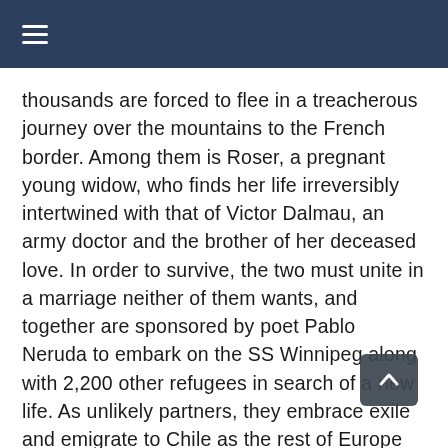≡
thousands are forced to flee in a treacherous journey over the mountains to the French border. Among them is Roser, a pregnant young widow, who finds her life irreversibly intertwined with that of Victor Dalmau, an army doctor and the brother of her deceased love. In order to survive, the two must unite in a marriage neither of them wants, and together are sponsored by poet Pablo Neruda to embark on the SS Winnipeg along with 2,200 other refugees in search of a new life. As unlikely partners, they embrace exile and emigrate to Chile as the rest of Europe erupts in World War. Starting over on a new continent, their trials are just beginning. Over the course of their lives, they will face test after test. But they will also find joy as they wait patiently for a day when